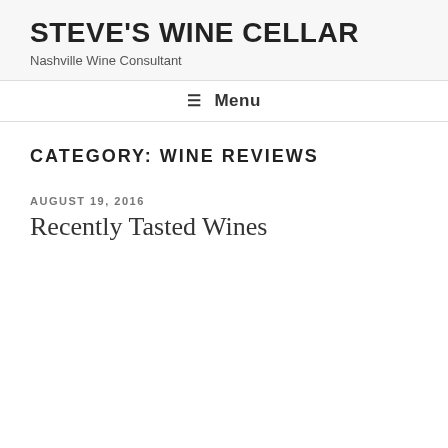STEVE'S WINE CELLAR
Nashville Wine Consultant
≡ Menu
CATEGORY: WINE REVIEWS
AUGUST 19, 2016
Recently Tasted Wines